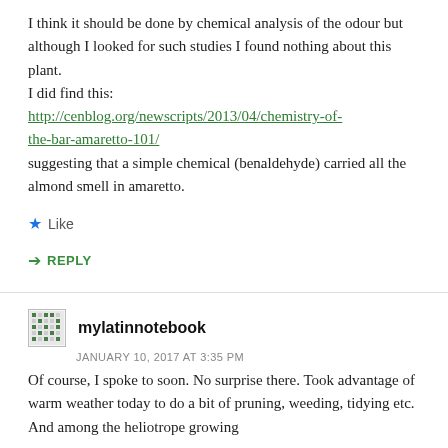I think it should be done by chemical analysis of the odour but although I looked for such studies I found nothing about this plant.
I did find this:
http://cenblog.org/newscripts/2013/04/chemistry-of-the-bar-amaretto-101/
suggesting that a simple chemical (benaldehyde) carried all the almond smell in amaretto.
Like
REPLY
mylatinnotebook
JANUARY 10, 2017 AT 3:35 PM
Of course, I spoke to soon. No surprise there. Took advantage of warm weather today to do a bit of pruning, weeding, tidying etc. And among the heliotrope growing